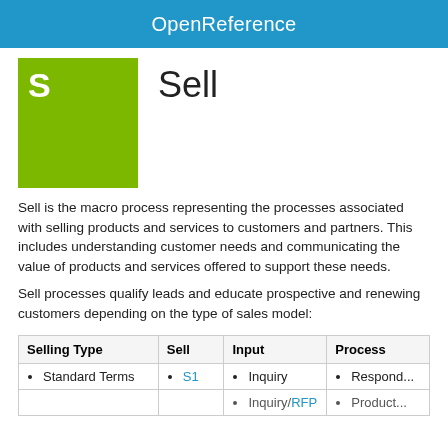OpenReference
[Figure (illustration): Green square with white letter S, representing the Sell macro process icon]
Sell
Sell is the macro process representing the processes associated with selling products and services to customers and partners. This includes understanding customer needs and communicating the value of products and services offered to support these needs.
Sell processes qualify leads and educate prospective and renewing customers depending on the type of sales model:
| Selling Type | Sell | Input | Process |
| --- | --- | --- | --- |
| Standard Terms | S1 | Inquiry | Respond... |
|  |  | Inquiry/RFP | Product... |